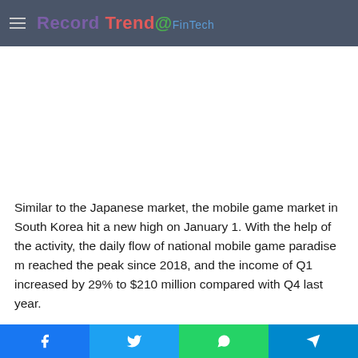Record Trend @ FinTech
Similar to the Japanese market, the mobile game market in South Korea hit a new high on January 1. With the help of the activity, the daily flow of national mobile game paradise m reached the peak since 2018, and the income of Q1 increased by 29% to $210 million compared with Q4 last year.
Social share buttons: Facebook, Twitter, WhatsApp, Telegram